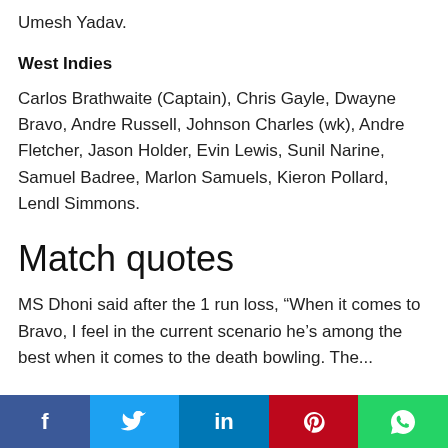Umesh Yadav.
West Indies
Carlos Brathwaite (Captain), Chris Gayle, Dwayne Bravo, Andre Russell, Johnson Charles (wk), Andre Fletcher, Jason Holder, Evin Lewis, Sunil Narine, Samuel Badree, Marlon Samuels, Kieron Pollard, Lendl Simmons.
Match quotes
MS Dhoni said after the 1 run loss, “When it comes to Bravo, I feel in the current scenario he’s among the best when it comes to the death bowling. The...
Facebook Twitter LinkedIn Pinterest WhatsApp